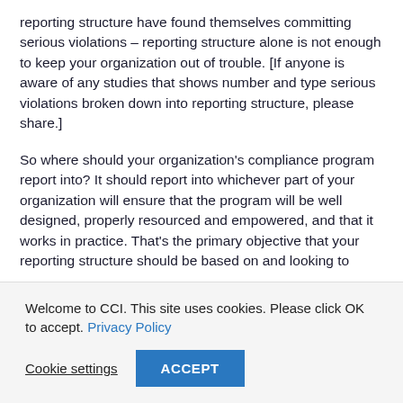reporting structure have found themselves committing serious violations – reporting structure alone is not enough to keep your organization out of trouble. [If anyone is aware of any studies that shows number and type serious violations broken down into reporting structure, please share.]
So where should your organization's compliance program report into? It should report into whichever part of your organization will ensure that the program will be well designed, properly resourced and empowered, and that it works in practice. That's the primary objective that your reporting structure should be based on and looking to
Welcome to CCI. This site uses cookies. Please click OK to accept. Privacy Policy
Cookie settings | ACCEPT